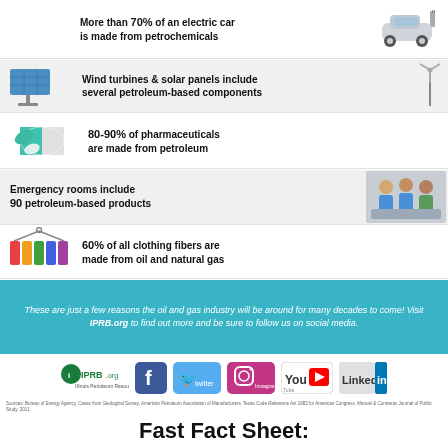[Figure (infographic): Infographic showing petroleum uses: electric car (70%+), wind turbines & solar panels, pharmaceuticals (80-90%), emergency rooms (90 products), clothing fibers (60%), and IPRB oil and gas industry message with social media links.]
More than 70% of an electric car is made from petrochemicals
Wind turbines & solar panels include several petroleum-based components
80-90% of pharmaceuticals are made from petroleum
Emergency rooms include 90 petroleum-based products
60% of all clothing fibers are made from oil and natural gas
These are just a few reasons the oil and gas industry will be around for many decades to come! Visit IPRB.org to find out more and be sure to follow us on social media.
Sources: Bureau of Energy Agency, Cases from Geological Survey, American Petroleum Association of Manufacturers, Texas Code Reference Act 1983 for American Congress, Manuel & Contreras Journal of Public Study, 2011
Fast Fact Sheet: